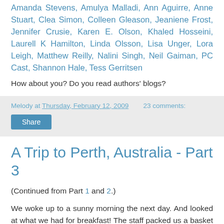Amanda Stevens, Amulya Malladi, Ann Aguirre, Anne Stuart, Clea Simon, Colleen Gleason, Jeaniene Frost, Jennifer Crusie, Karen E. Olson, Khaled Hosseini, Laurell K Hamilton, Linda Olsson, Lisa Unger, Lora Leigh, Matthew Reilly, Nalini Singh, Neil Gaiman, PC Cast, Shannon Hale, Tess Gerritsen
How about you? Do you read authors' blogs?
Melody at Thursday, February 12, 2009   23 comments:
Share
A Trip to Perth, Australia - Part 3
(Continued from Part 1 and 2.)
We woke up to a sunny morning the next day. And looked at what we had for breakfast! The staff packed us a basket of assorted jams and butter, bottled orange juice, milk, cereals, some slices of bread, and yes, they even had a small